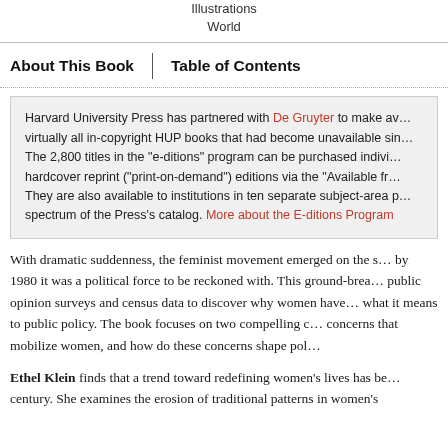Illustrations
World
About This Book | Table of Contents
Harvard University Press has partnered with De Gruyter to make available virtually all in-copyright HUP books that had become unavailable since publication. The 2,800 titles in the "e-ditions" program can be purchased individually as PDF e-books or in hardcover reprint ("print-on-demand") editions via the "Available from De Gruyter" links above. They are also available to institutions in ten separate subject-area packages that reflect the full spectrum of the Press's catalog. More about the E-ditions Program
With dramatic suddenness, the feminist movement emerged on the scene in the 1960s, and by 1980 it was a political force to be reckoned with. This ground-breaking book analyzes public opinion surveys and census data to discover why women have become a political force and what it means to public policy. The book focuses on two compelling questions: What are the concerns that mobilize women, and how do these concerns shape political behavior?
Ethel Klein finds that a trend toward redefining women's lives has been underway since mid-century. She examines the erosion of traditional patterns in women's